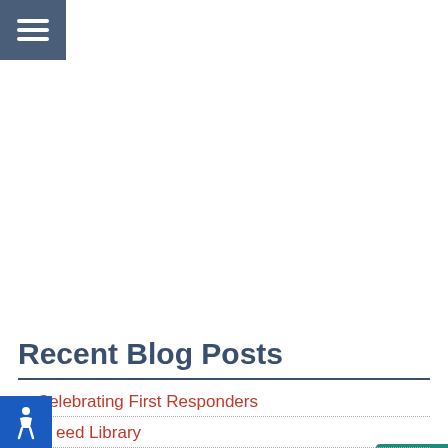[Figure (other): Hamburger menu button with three white horizontal lines on dark blue-grey background]
[Figure (other): Teal info button with white 'i' icon, partially visible on right edge]
[Figure (other): Orange circular scroll-up button with white upward arrow]
Recent Blog Posts
Celebrating First Responders
eed Library
[Figure (other): Blue accessibility (wheelchair) icon in bottom-left corner]